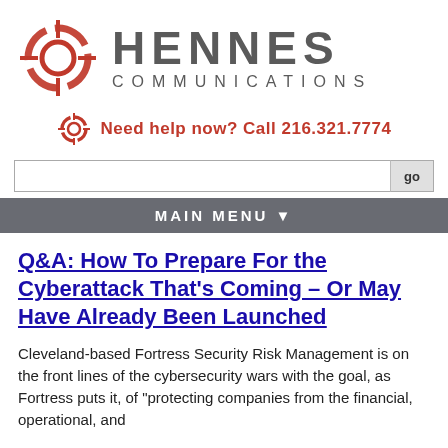[Figure (logo): Hennes Communications logo with crosshair/target icon in red/pink and company name HENNES COMMUNICATIONS in gray]
Need help now? Call 216.321.7774
Search input field with go button
MAIN MENU ▼
Q&A: How To Prepare For the Cyberattack That's Coming – Or May Have Already Been Launched
Cleveland-based Fortress Security Risk Management is on the front lines of the cybersecurity wars with the goal, as Fortress puts it, of "protecting companies from the financial, operational, and